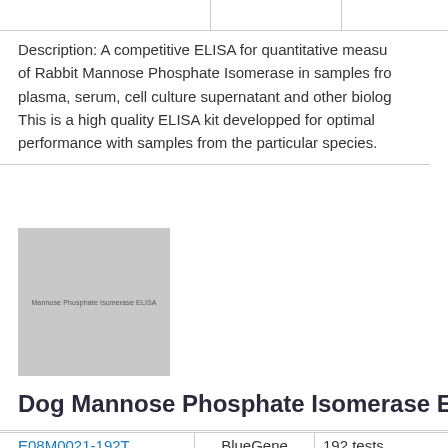Description: A competitive ELISA for quantitative measurement of Rabbit Mannose Phosphate Isomerase in samples from plasma, serum, cell culture supernatant and other biologicals. This is a high quality ELISA kit developped for optimal performance with samples from the particular species.
[Figure (photo): Product image placeholder for Mannose Phosphate Isomerase ELISA kit]
Dog Mannose Phosphate Isomerase ELISA k
|  |  |  |
| --- | --- | --- |
| E08M0021-192T | BlueGene | 192 tests |
Description: A competitive ELISA for quantitative meas...